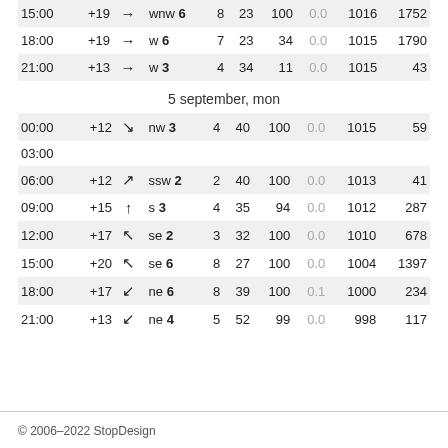| time | temp | arrow | dir | speed | gust | humidity | precip | pressure | vis |
| --- | --- | --- | --- | --- | --- | --- | --- | --- | --- |
| 15:00 | +19 | → | wnw 6 | 8 | 23 | 100 | 0.0 | 1016 | 1752 |
| 18:00 | +19 | → | w 6 | 7 | 23 | 34 | 0.0 | 1015 | 1790 |
| 21:00 | +13 | → | w 3 | 4 | 34 | 11 | 0.0 | 1015 | 43 |
5 september, mon
| time | temp | arrow | dir | speed | gust | humidity | precip | pressure | vis |
| --- | --- | --- | --- | --- | --- | --- | --- | --- | --- |
| 00:00 | +12 | ↘ | nw 3 | 4 | 40 | 100 | 0.0 | 1015 | 59 |
| 03:00 |  |  |  |  |  |  |  |  |  |
| 06:00 | +12 | ↗ | ssw 2 | 2 | 40 | 100 | 0.0 | 1013 | 41 |
| 09:00 | +15 | ↑ | s 3 | 4 | 35 | 94 | 0.0 | 1012 | 287 |
| 12:00 | +17 | ↖ | se 2 | 3 | 32 | 100 | 0.0 | 1010 | 678 |
| 15:00 | +20 | ↖ | se 6 | 8 | 27 | 100 | 0.0 | 1004 | 1397 |
| 18:00 | +17 | ↙ | ne 6 | 8 | 39 | 100 | 0.1 | 1000 | 234 |
| 21:00 | +13 | ↙ | ne 4 | 5 | 52 | 99 | 0.0 | 998 | 117 |
© 2006–2022 StopDesign